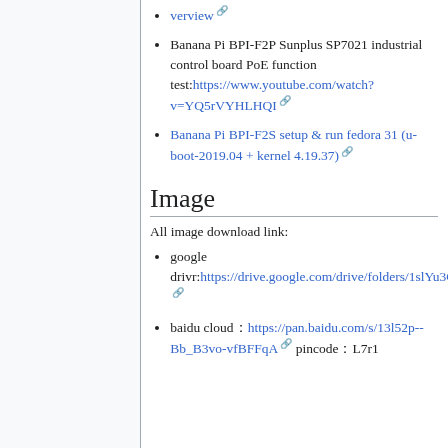verview [link] (top truncated link)
Banana Pi BPI-F2P Sunplus SP7021 industrial control board PoE function test:https://www.youtube.com/watch?v=YQ5rVYHLHQI
Banana Pi BPI-F2S setup & run fedora 31 (u-boot-2019.04 + kernel 4.19.37)
Image
All image download link:
google drivr:https://drive.google.com/drive/folders/1slYu3CLbP2OIarjarT4hdShBAXbPxDWZ
baidu cloud：https://pan.baidu.com/s/13l52p--Bb_B3vo-vfBFFqA pincode：L7r1